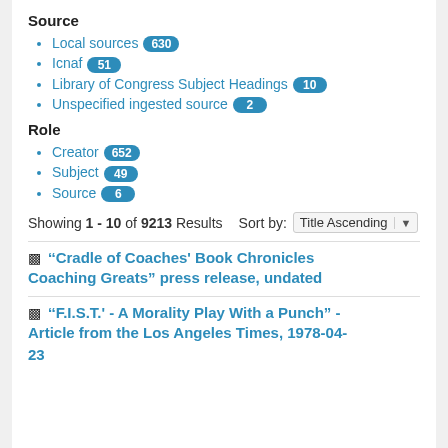Source
Local sources 630
Icnaf 51
Library of Congress Subject Headings 10
Unspecified ingested source 2
Role
Creator 652
Subject 49
Source 6
Showing 1 - 10 of 9213 Results  Sort by: Title Ascending
'Cradle of Coaches' Book Chronicles Coaching Greats" press release, undated
'F.I.S.T.' - A Morality Play With a Punch" - Article from the Los Angeles Times, 1978-04-23